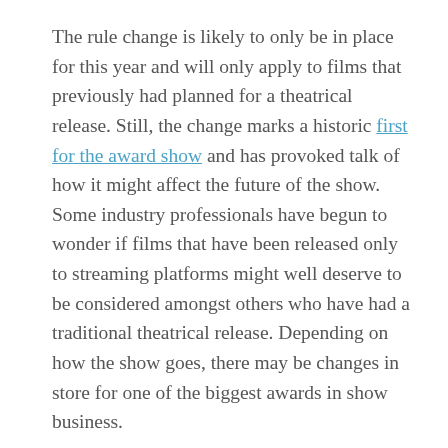The rule change is likely to only be in place for this year and will only apply to films that previously had planned for a theatrical release. Still, the change marks a historic first for the award show and has provoked talk of how it might affect the future of the show. Some industry professionals have begun to wonder if films that have been released only to streaming platforms might well deserve to be considered amongst others who have had a traditional theatrical release. Depending on how the show goes, there may be changes in store for one of the biggest awards in show business.
Hawaii considering new measures
Of course, the effects of the global pandemic have extended far beyond the confines of the entertainment industry. One way this has manifested is through each